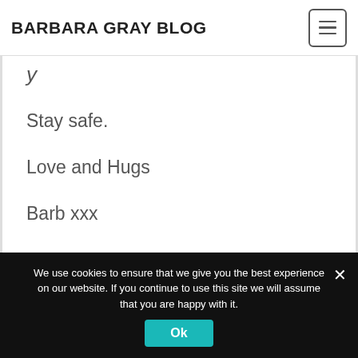BARBARA GRAY BLOG
y
Stay safe.
Love and Hugs
Barb xxx
We use cookies to ensure that we give you the best experience on our website. If you continue to use this site we will assume that you are happy with it.